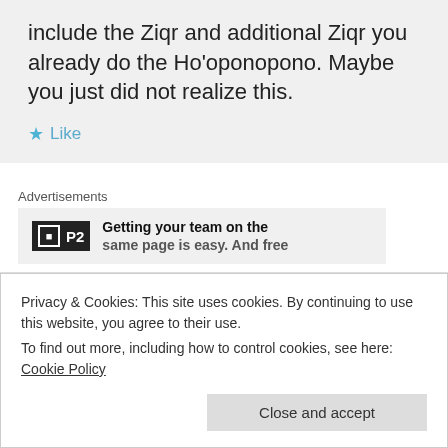include the Ziqr and additional Ziqr you already do the Ho'oponopono. Maybe you just did not realize this.
Like
Advertisements
[Figure (screenshot): P2 advertisement banner: Getting your team on the same page is easy. And free]
Jamal Lashua on 10/20/2011 at 12:42 PM
Privacy & Cookies: This site uses cookies. By continuing to use this website, you agree to their use.
To find out more, including how to control cookies, see here: Cookie Policy
Close and accept